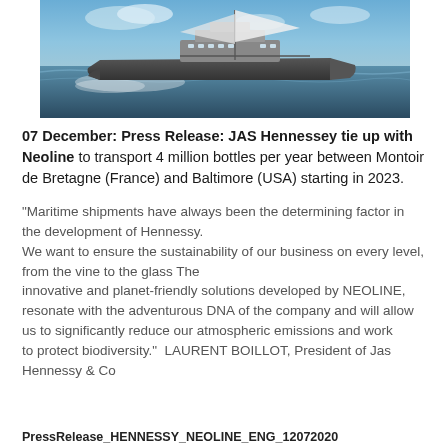[Figure (photo): A large cargo/sail ship sailing on the ocean, photographed from the side, with white sails and dark hull against a blue sky and choppy water.]
07 December: Press Release: JAS Hennessey tie up with Neoline to transport 4 million bottles per year between Montoir de Bretagne (France) and Baltimore (USA) starting in 2023.
“Maritime shipments have always been the determining factor in the development of Hennessy.
We want to ensure the sustainability of our business on every level, from the vine to the glass The
innovative and planet-friendly solutions developed by NEOLINE, resonate with the adventurous DNA of the company and will allow us to significantly reduce our atmospheric emissions and work
to protect biodiversity.”  LAURENT BOILLOT, President of Jas Hennessy & Co
PressRelease_HENNESSY_NEOLINE_ENG_12072020